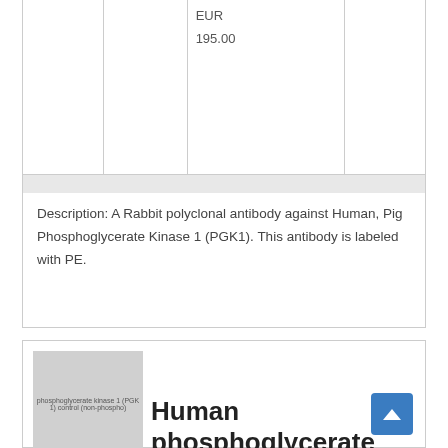|  |  | EUR
195.00 |
Description: A Rabbit polyclonal antibody against Human, Pig Phosphoglycerate Kinase 1 (PGK1). This antibody is labeled with PE.
[Figure (photo): Product thumbnail image placeholder showing text: phosphoglycerate kinase 1 (PGK1) control (non-phospho)]
Human phosphoglycerate kinase 1 (PGK1) control (non-phospho) peptide